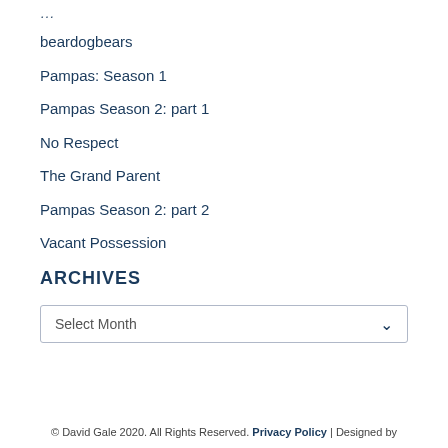beardogbears
Pampas: Season 1
Pampas Season 2: part 1
No Respect
The Grand Parent
Pampas Season 2: part 2
Vacant Possession
ARCHIVES
Select Month
© David Gale 2020. All Rights Reserved. Privacy Policy | Designed by